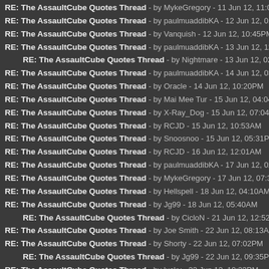RE: The AssaultCube Quotes Thread - by MykeGregory - 11 Jun 12, 11:05PM
RE: The AssaultCube Quotes Thread - by paulmuaddibKA - 12 Jun 12, 01:07AM
RE: The AssaultCube Quotes Thread - by Vanquish - 12 Jun 12, 10:45PM
RE: The AssaultCube Quotes Thread - by paulmuaddibKA - 13 Jun 12, 12:01AM
RE: The AssaultCube Quotes Thread - by Nightmare - 13 Jun 12, 02:11AM
RE: The AssaultCube Quotes Thread - by paulmuaddibKA - 14 Jun 12, 03:52AM
RE: The AssaultCube Quotes Thread - by Oracle - 14 Jun 12, 10:20PM
RE: The AssaultCube Quotes Thread - by Mai Mee Tur - 15 Jun 12, 04:04AM
RE: The AssaultCube Quotes Thread - by X-Ray_Dog - 15 Jun 12, 07:04AM
RE: The AssaultCube Quotes Thread - by RCJD - 15 Jun 12, 10:53AM
RE: The AssaultCube Quotes Thread - by Snoosnoo - 15 Jun 12, 05:31PM
RE: The AssaultCube Quotes Thread - by RCJD - 16 Jun 12, 12:01AM
RE: The AssaultCube Quotes Thread - by paulmuaddibKA - 17 Jun 12, 02:27AM
RE: The AssaultCube Quotes Thread - by MykeGregory - 17 Jun 12, 07:31PM
RE: The AssaultCube Quotes Thread - by Hellspell - 18 Jun 12, 04:10AM
RE: The AssaultCube Quotes Thread - by Jg99 - 18 Jun 12, 05:40AM
RE: The AssaultCube Quotes Thread - by CicloN - 21 Jun 12, 12:52AM
RE: The AssaultCube Quotes Thread - by Joe Smith - 22 Jun 12, 08:13AM
RE: The AssaultCube Quotes Thread - by Shorty - 22 Jun 12, 07:02PM
RE: The AssaultCube Quotes Thread - by Jg99 - 22 Jun 12, 09:35PM
RE: The AssaultCube Quotes Thread - by lucky - 22 Jun 12, 10:23PM
RE: The AssaultCube Quotes Thread - by jAcKRoCk* - 22 Jun 12, 11:52PM
RE: The AssaultCube Quotes Thread - by Jg99 - 23 Jun 12, 03:48AM
RE: The AssaultCube Quotes Thread - by Oracle - 23 Jun 12, 04:58PM
RE: The AssaultCube Quotes Thread - by ...